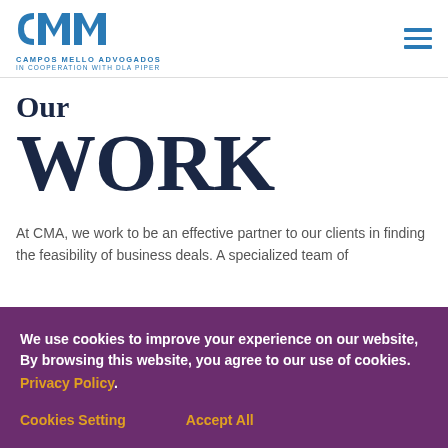CAMPOS MELLO ADVOGADOS IN COOPERATION WITH DLA PIPER
Our WORK
At CMA, we work to be an effective partner to our clients in finding the feasibility of business deals. A specialized team of
We use cookies to improve your experience on our website, By browsing this website, you agree to our use of cookies. Privacy Policy.
Cookies Setting   Accept All